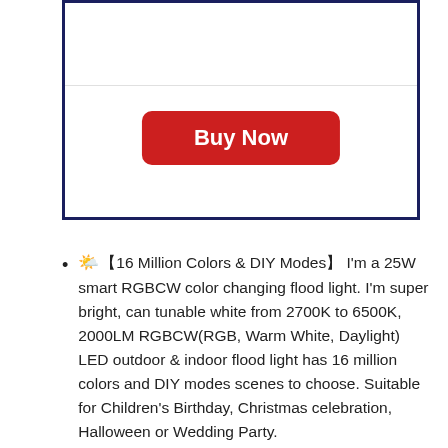[Figure (other): A bordered box (dark navy border) containing a horizontal divider line and a red 'Buy Now' button centered within the lower portion of the box.]
🌤️【16 Million Colors & DIY Modes】 I'm a 25W smart RGBCW color changing flood light. I'm super bright, can tunable white from 2700K to 6500K, 2000LM RGBCW(RGB, Warm White, Daylight) LED outdoor & indoor flood light has 16 million colors and DIY modes scenes to choose. Suitable for Children's Birthday, Christmas celebration, Halloween or Wedding Party.
🌤️【Bluetooth Connect & Easy Operation】 How to use me ? First download the APP called :